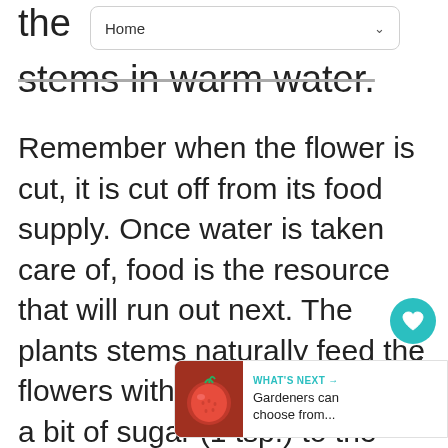the
stems in warm water.
Remember when the flower is cut, it is cut off from its food supply. Once water is taken care of, food is the resource that will run out next. The plants stems naturally feed the flowers with sugars. If you add a bit of sugar (1 tsp.) to the vase water, this will help feed the flower stems and extend their vase life.
[Figure (other): WHAT'S NEXT arrow label with thumbnail image of a tomato/strawberry and text 'Gardeners can choose from...']